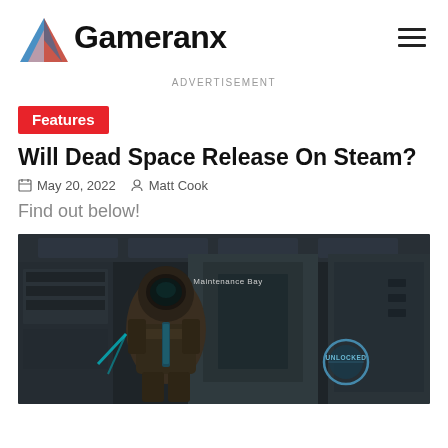Gameranx
ADVERTISEMENT
Features
Will Dead Space Release On Steam?
May 20, 2022   Matt Cook
Find out below!
[Figure (screenshot): Dead Space game screenshot showing a character in a spacesuit in the Maintenance Bay area with an UNLOCKED prompt visible]